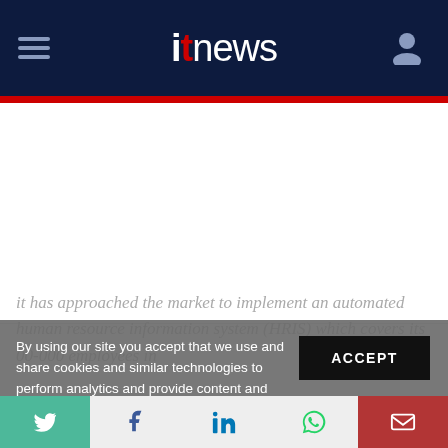itnews
it has approached the market to implement an automated human resource information system (HRIS) which covers its 00-000 employees in
By using our site you accept that we use and share cookies and similar technologies to perform analytics and provide content and ads tailored to your interests. By continuing to use our site, you consent to this. Please see our Cookie Policy for more information.